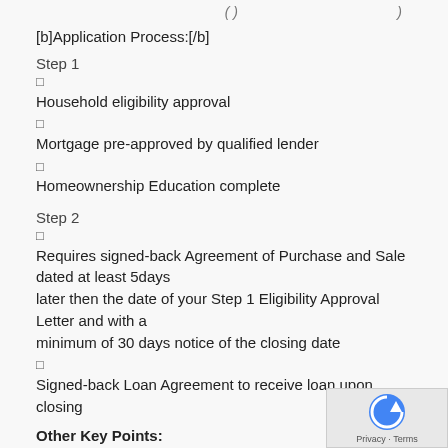( ) ... )
[b]Application Process:[/b]
Step 1
□
Household eligibility approval
□
Mortgage pre-approved by qualified lender
□
Homeownership Education complete
Step 2
□
Requires signed-back Agreement of Purchase and Sale dated at least 5days later then the date of your Step 1 Eligibility Approval Letter and with a minimum of 30 days notice of the closing date
□
Signed-back Loan Agreement to receive loan upon closing
Other Key Points:
□